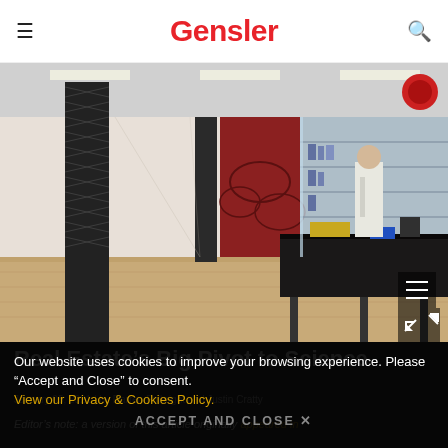Gensler
[Figure (photo): Interior photo of a modern laboratory and office space with wooden floors, metal mesh columns, glass partition walls, lab benches with equipment, and a person in a white lab coat working at a bench. Red wall accent visible in background.]
Real Estate's Big Pivot to Science
January 05, 2021 | by Darren Fulbright and Justin Cratty
Editor's note: a version of this article originally appeared in
Our website uses cookies to improve your browsing experience. Please “Accept and Close” to consent.
View our Privacy & Cookies Policy.
ACCEPT AND CLOSE ×